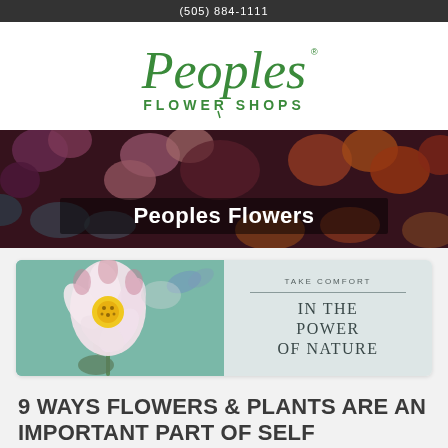(505) 884-1111
[Figure (logo): Peoples Flower Shops logo in green script and sans-serif text]
[Figure (photo): Hero banner with colorful flower bouquet background and 'Peoples Flowers' text overlay]
[Figure (illustration): Card with anemone flower photo on left and 'TAKE COMFORT IN THE POWER OF NATURE' text on right]
9 WAYS FLOWERS & PLANTS ARE AN IMPORTANT PART OF SELF